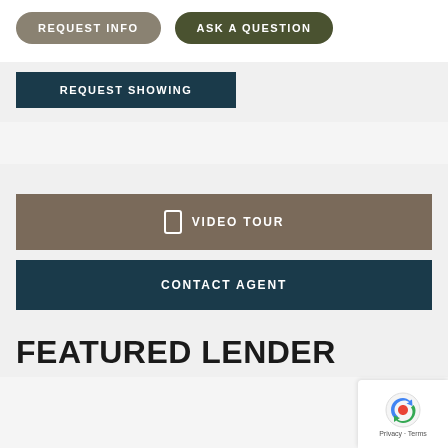REQUEST INFO
ASK A QUESTION
REQUEST SHOWING
VIDEO TOUR
CONTACT AGENT
FEATURED LENDER